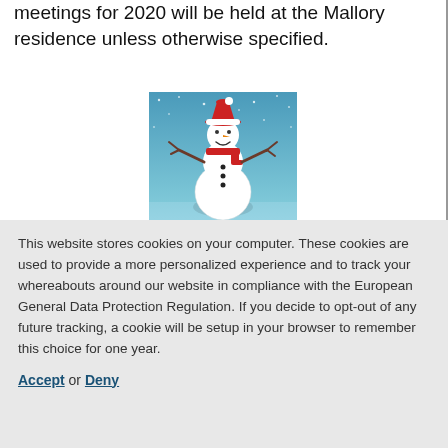meetings for 2020 will be held at the Mallory residence unless otherwise specified.
[Figure (illustration): Cartoon snowman wearing a red Santa hat and red scarf, standing against a blue snowy background with white snowflakes.]
This website stores cookies on your computer. These cookies are used to provide a more personalized experience and to track your whereabouts around our website in compliance with the European General Data Protection Regulation. If you decide to opt-out of any future tracking, a cookie will be setup in your browser to remember this choice for one year.
Accept or Deny